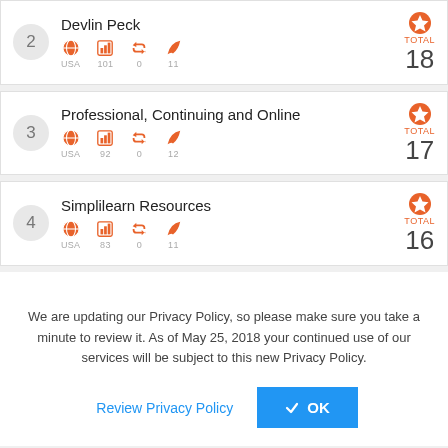2 Devlin Peck — USA 101 0 11 TOTAL 18
3 Professional, Continuing and Online — USA 92 0 12 TOTAL 17
4 Simplilearn Resources — USA 83 0 11 TOTAL 16
We are updating our Privacy Policy, so please make sure you take a minute to review it. As of May 25, 2018 your continued use of our services will be subject to this new Privacy Policy.
Review Privacy Policy   ✓ OK